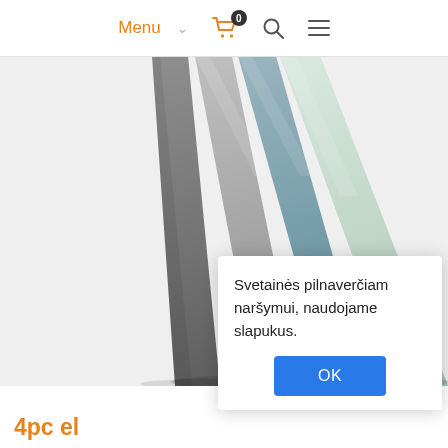Menu  0
[Figure (photo): Four elastic resistance loop bands fanned out in shades of dark gray, medium gray, steel blue, and light mint green, arranged in a fan/triangle shape on a white background.]
Svetainės pilnaverčiam naršymui, naudojame slapukus.
OK
4pc el